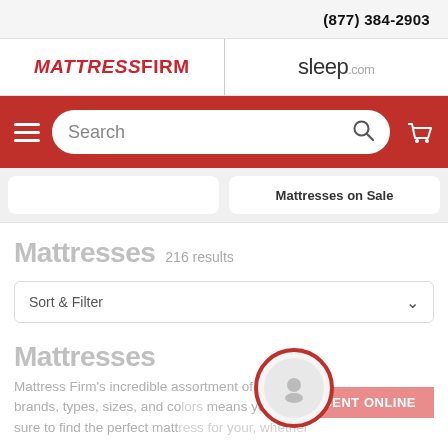(877) 384-2903
[Figure (logo): MattressFirm logo (red italic bold uppercase) and sleep.com logo side by side]
[Figure (screenshot): Red navigation bar with hamburger menu, search bar with magnifying glass icon, and shopping cart icon]
Mattresses on Sale
Mattresses 216 results
Sort & Filter
Mattresses
Mattress Firm's incredible assortment of mattress brands, types, sizes, and co... sure to find the perfect mattr... for you, whether...